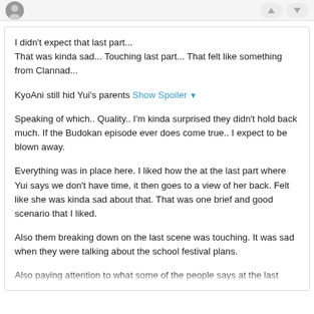[avatar and vote buttons]
I didn't expect that last part...
That was kinda sad... Touching last part... That felt like something from Clannad...
KyoAni still hid Yui's parents Show Spoiler ▼
Speaking of which.. Quality.. I'm kinda surprised they didn't hold back much. If the Budokan episode ever does come true.. I expect to be blown away.
Everything was in place here. I liked how the at the last part where Yui says we don't have time, it then goes to a view of her back. Felt like she was kinda sad about that. That was one brief and good scenario that I liked.
Also them breaking down on the last scene was touching. It was sad when they were talking about the school festival plans.
Also paying attention to what some of the people says at the last